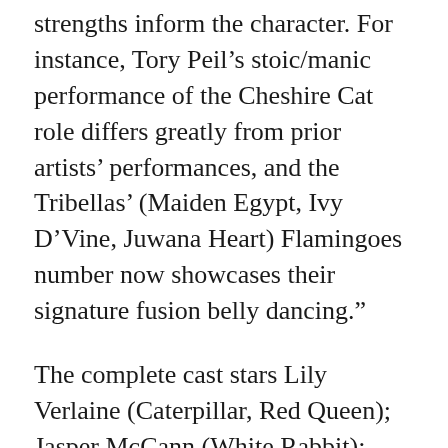strengths inform the character. For instance, Tory Peil’s stoic/manic performance of the Cheshire Cat role differs greatly from prior artists’ performances, and the Tribellas’ (Maiden Egypt, Ivy D’Vine, Juwana Heart) Flamingoes number now showcases their signature fusion belly dancing.”
The complete cast stars Lily Verlaine (Caterpillar, Red Queen); Jasper McCann (White Rabbit); Miss Indigo Blue (The Mad Hatter, Tiger Lily, The Duchess); Babette La Fave (Jabberwocky, Tweedle Dee, Cook); Dreamy Tangerine (Alice); Cookie Bellini (Alice); Tory